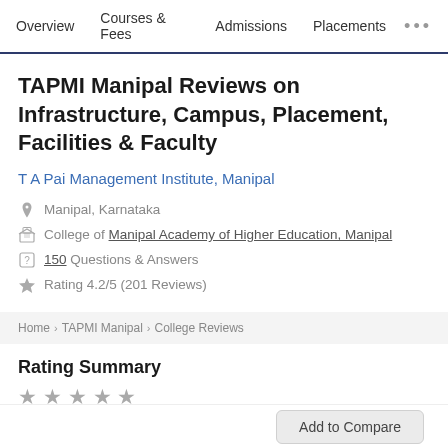Overview | Courses & Fees | Admissions | Placements | ...
TAPMI Manipal Reviews on Infrastructure, Campus, Placement, Facilities & Faculty
T A Pai Management Institute, Manipal
Manipal, Karnataka
College of Manipal Academy of Higher Education, Manipal
150 Questions & Answers
Rating 4.2/5 (201 Reviews)
Home > TAPMI Manipal > College Reviews
Rating Summary